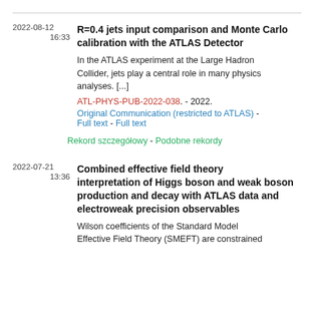2022-08-12
16:33
R=0.4 jets input comparison and Monte Carlo calibration with the ATLAS Detector
In the ATLAS experiment at the Large Hadron Collider, jets play a central role in many physics analyses. [...]
ATL-PHYS-PUB-2022-038. - 2022.
Original Communication (restricted to ATLAS) - Full text - Full text
Rekord szczegółowy - Podobne rekordy
2022-07-21
13:36
Combined effective field theory interpretation of Higgs boson and weak boson production and decay with ATLAS data and electroweak precision observables
Wilson coefficients of the Standard Model Effective Field Theory (SMEFT) are constrained